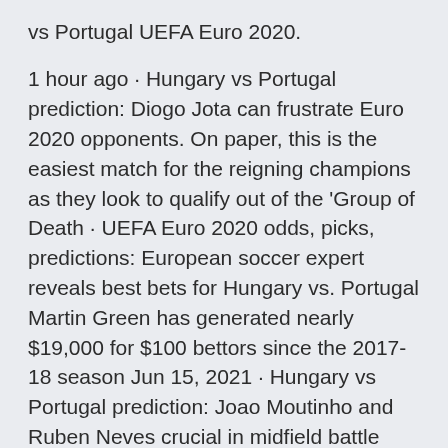vs Portugal UEFA Euro 2020.
1 hour ago · Hungary vs Portugal prediction: Diogo Jota can frustrate Euro 2020 opponents. On paper, this is the easiest match for the reigning champions as they look to qualify out of the 'Group of Death · UEFA Euro 2020 odds, picks, predictions: European soccer expert reveals best bets for Hungary vs. Portugal Martin Green has generated nearly $19,000 for $100 bettors since the 2017-18 season Jun 15, 2021 · Hungary vs Portugal prediction: Joao Moutinho and Ruben Neves crucial in midfield battle The Euro 2020 stage is set for holders Portugal to retain their title but could not have asked for a Hungary vs Portugal: TV channel, live stream, team news & prediction Previewing · Hungary vs Portugal at Euro 2020: The lowdown Here is everything you need to know ahead of Hungary and Portugal's